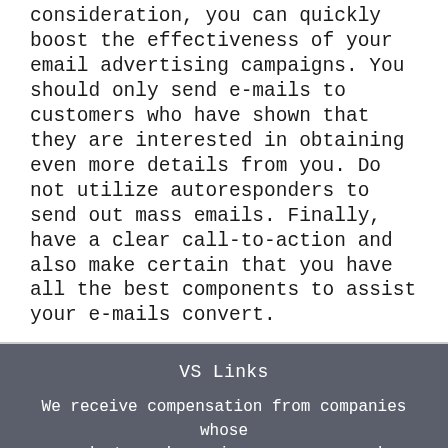consideration, you can quickly boost the effectiveness of your email advertising campaigns. You should only send e-mails to customers who have shown that they are interested in obtaining even more details from you. Do not utilize autoresponders to send out mass emails. Finally, have a clear call-to-action and also make certain that you have all the best components to assist your e-mails convert.
VS Links
We receive compensation from companies whose products and services we recommend.
©2022 cherryhillhomes.net All Rights Reserved.